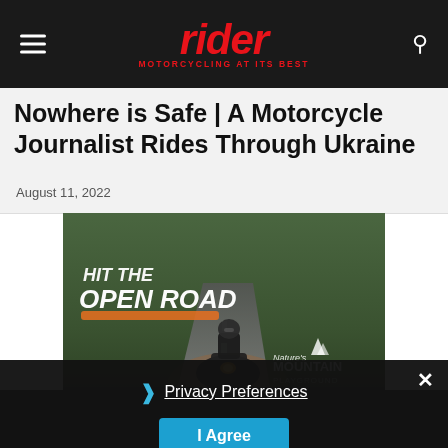rider — MOTORCYCLING AT ITS BEST
Nowhere is Safe | A Motorcycle Journalist Rides Through Ukraine
August 11, 2022
[Figure (photo): Advertisement showing a motorcyclist riding on an open winding road through a forest with text 'HIT THE OPEN ROAD' and 'Nature's Mountain Playground' branding, with a banner 'PLAN YOUR YOUR NEXT RIDE >>']
Privacy Preferences
I Agree